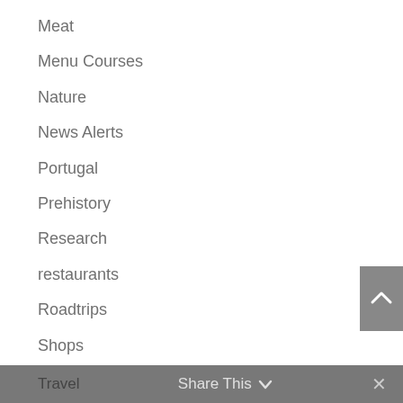Meat
Menu Courses
Nature
News Alerts
Portugal
Prehistory
Research
restaurants
Roadtrips
Shops
Soups
Spanish
Tasting Notes
Travel    Share This    ✕